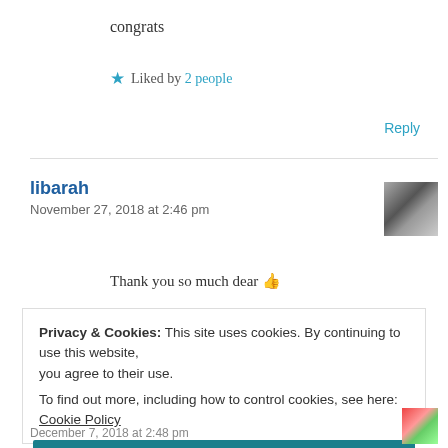congrats
★ Liked by 2 people
Reply
libarah
November 27, 2018 at 2:46 pm
[Figure (photo): Avatar image of user libarah]
Thank you so much dear 👍
Privacy & Cookies: This site uses cookies. By continuing to use this website, you agree to their use.
To find out more, including how to control cookies, see here: Cookie Policy
Close and accept
December 7, 2018 at 2:48 pm
[Figure (photo): Small avatar image at bottom]